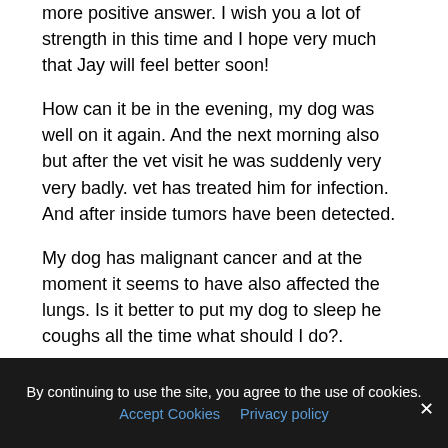more positive answer. I wish you a lot of strength in this time and I hope very much that Jay will feel better soon!
How can it be in the evening, my dog was well on it again. And the next morning also but after the vet visit he was suddenly very very badly. vet has treated him for infection. And after inside tumors have been detected.
My dog has malignant cancer and at the moment it seems to have also affected the lungs. Is it better to put my dog to sleep he coughs all the time what should I do?.
Hello Marion,
thanks for the question. I am very sorry that your dog has malignant cancer.
Unfortunately we can't answer your question. Please talk to your veterinarian about this. He will be able to tell you better
By continuing to use the site, you agree to the use of cookies. Accept Cookies  Privacy policy